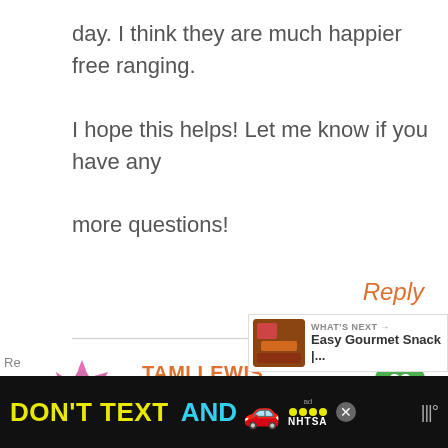day. I think they are much happier free ranging.

I hope this helps! Let me know if you have any more questions!
Reply
TAMI LEWIS
AUGUST 24, 2017 AT 2:18 PM
[Figure (screenshot): Ad banner at the bottom: DON'T TEXT AND with car emoji, ad badge, NHTSA logo]
[Figure (screenshot): What's Next box: Easy Gourmet Snack |... with food thumbnail]